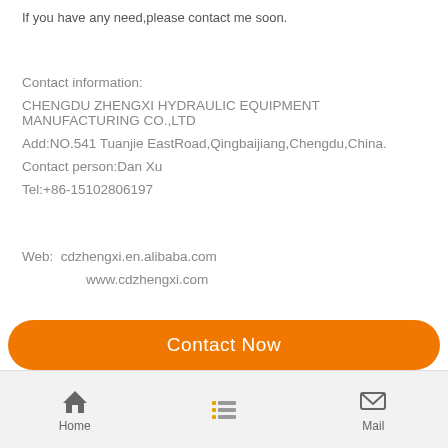If you have any need,please contact me soon.
Contact information:
CHENGDU ZHENGXI HYDRAULIC EQUIPMENT MANUFACTURING CO.,LTD
Add:NO.541 Tuanjie EastRoad,Qingbaijiang,Chengdu,China.
Contact person:Dan Xu
Tel:+86-15102806197
Web:  cdzhengxi.en.alibaba.com
      www.cdzhengxi.com
Contact Now
Home   [menu]   Mail